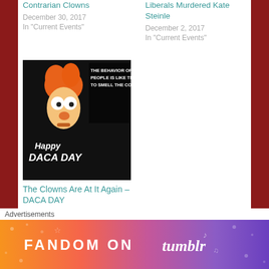Contrarian Clowns
December 30, 2017
In "Current Events"
Liberals Murdered Kate Steinle
December 2, 2017
In "Current Events"
[Figure (photo): Meme image of Beaker muppet with text: THE BEHAVIOR OF SOME PEOPLE IS LIKE TRYING TO SMELL THE COLOR 9. Happy DACA DAY]
The Clowns Are At It Again –DACA DAY
January 20, 2018
In "Current Events"
Published by
Advertisements
[Figure (other): Fandom on Tumblr advertisement banner with colorful gradient background]